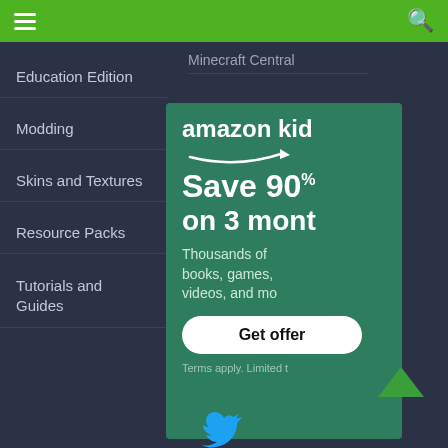☰  Minecraft Central  🔍
Education Edition
Modding
Skins and Textures
Resource Packs
Tutorials and Guides
Minecraft Central
[Figure (infographic): Amazon Kids ad: Save 90% on 3 months. Thousands of books, games, videos, and more. Get offer button. Terms apply. Limited time.]
[Figure (other): Back to top arrow chevron icon]
[Figure (other): Twitter bird icon at bottom center]